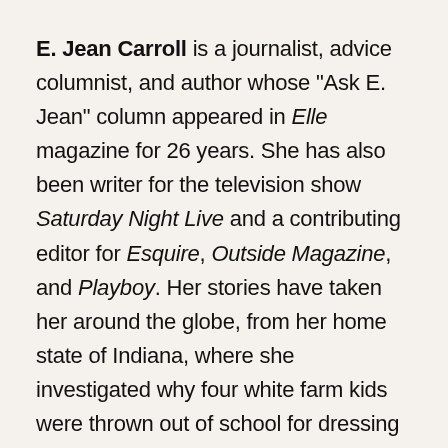E. Jean Carroll is a journalist, advice columnist, and author whose "Ask E. Jean" column appeared in Elle magazine for 26 years. She has also been writer for the television show Saturday Night Live and a contributing editor for Esquire, Outside Magazine, and Playboy. Her stories have taken her around the globe, from her home state of Indiana, where she investigated why four white farm kids were thrown out of school for dressing like black artists in "The Return of the White Negro," to